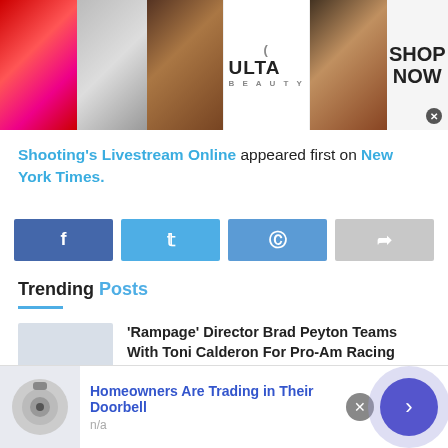[Figure (photo): Ulta Beauty advertisement banner showing makeup imagery (lips, brush, eyes) with Ulta Beauty logo and Shop Now text]
Shooting's Livestream Online appeared first on New York Times.
[Figure (infographic): Social sharing buttons: Facebook, Twitter, Reddit, Share]
Trending Posts
[Figure (photo): Thumbnail placeholder (blue-gray) for Rampage Director article]
'Rampage' Director Brad Peyton Teams With Toni Calderon For Pro-Am Racing Docuseries
AUGUST 18, 2022
Homeowners Are Trading in Their Doorbell
n/a